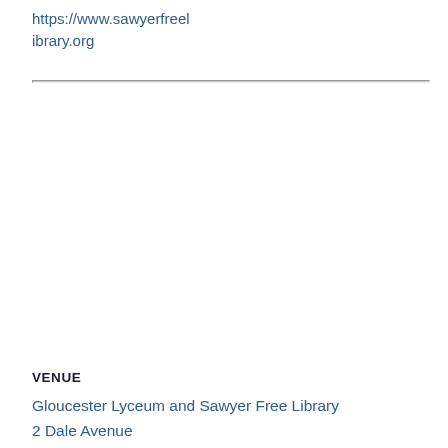https://www.sawyerfreelibrary.org
VENUE
Gloucester Lyceum and Sawyer Free Library
2 Dale Avenue